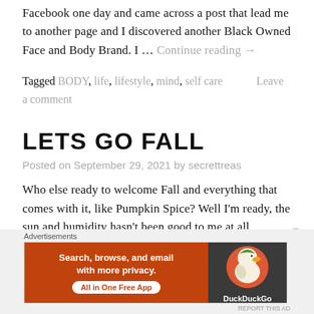Facebook one day and came across a post that lead me to another page and I discovered another Black Owned Face and Body Brand. I … Continue reading →
Tagged BODY, life, lifestyle, mind, self care     Leave a comment
LETS GO FALL
Posted on September 29, 2021 by secrettreas
Who else ready to welcome Fall and everything that comes with it, like Pumpkin Spice? Well I'm ready, the sun and humidity hasn't been good to me at all
Advertisements
[Figure (other): DuckDuckGo advertisement banner: orange left side with text 'Search, browse, and email with more privacy. All in One Free App' and dark right side with DuckDuckGo duck logo]